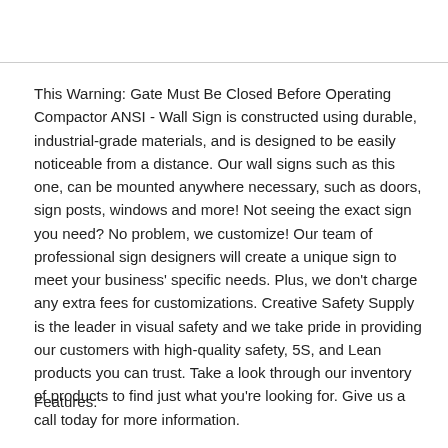This Warning: Gate Must Be Closed Before Operating Compactor ANSI - Wall Sign is constructed using durable, industrial-grade materials, and is designed to be easily noticeable from a distance. Our wall signs such as this one, can be mounted anywhere necessary, such as doors, sign posts, windows and more! Not seeing the exact sign you need? No problem, we customize! Our team of professional sign designers will create a unique sign to meet your business' specific needs. Plus, we don't charge any extra fees for customizations. Creative Safety Supply is the leader in visual safety and we take pride in providing our customers with high-quality safety, 5S, and Lean products you can trust. Take a look through our inventory of products to find just what you're looking for. Give us a call today for more information.
Features: